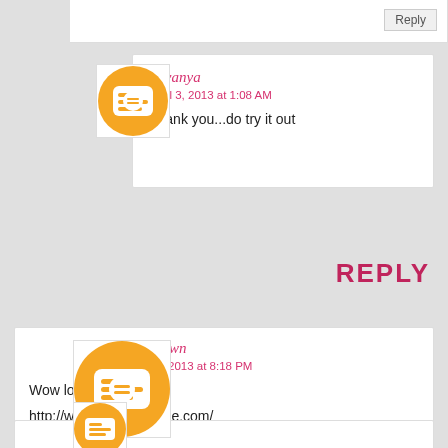Reply
Lavanya
April 3, 2013 at 1:08 AM
Thank you...do try it out
REPLY
Unknown
April 2, 2013 at 8:18 PM
Wow love those kulfis

http://www.followfoodiee.com/
Reply